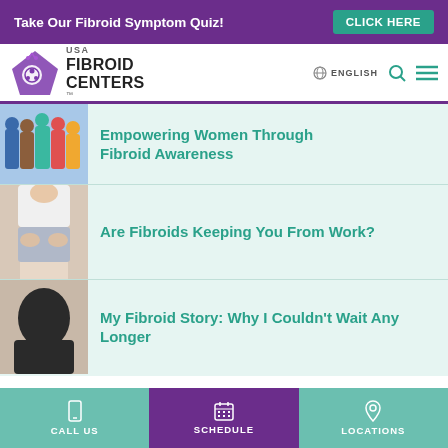Take Our Fibroid Symptom Quiz! CLICK HERE
[Figure (logo): USA Fibroid Centers logo with purple leaf/butterfly icon]
ENGLISH
Empowering Women Through Fibroid Awareness
Are Fibroids Keeping You From Work?
My Fibroid Story: Why I Couldn't Wait Any Longer
CALL US   SCHEDULE   LOCATIONS